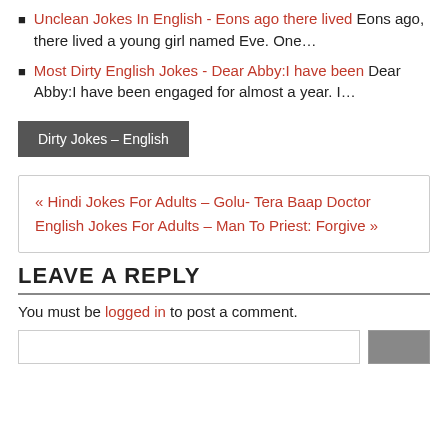Unclean Jokes In English - Eons ago there lived Eons ago, there lived a young girl named Eve. One…
Most Dirty English Jokes - Dear Abby:I have been Dear Abby:I have been engaged for almost a year. I…
Dirty Jokes – English
« Hindi Jokes For Adults – Golu- Tera Baap Doctor English Jokes For Adults – Man To Priest: Forgive »
LEAVE A REPLY
You must be logged in to post a comment.